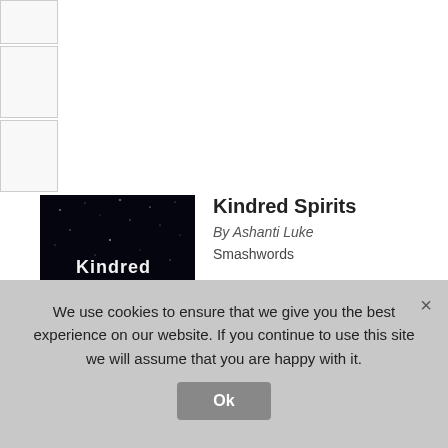[Figure (other): Three stacked placeholder/thumbnail boxes in the upper left sidebar]
[Figure (photo): Book cover of 'Kindred Spirits' — dark starry night sky background with the title text in glowing letters and a bright light beam at the bottom]
Kindred Spirits
By Ashanti Luke
Smashwords
Reading a little bit like Terminator meets Serendipity, Kindred Spirits is a bit of a challenge to get through. But if you can
We use cookies to ensure that we give you the best experience on our website. If you continue to use this site we will assume that you are happy with it.